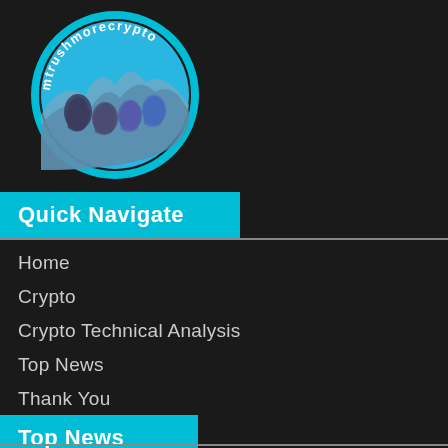[Figure (logo): Circular logo with cyan border and text 'mtrushmorecrypto' arched around the top, featuring a stylized blue Mount Rushmore scene with four faces carved in stone]
Quick Navigate
Home
Crypto
Crypto Technical Analysis
Top News
Thank You
Store
Top News